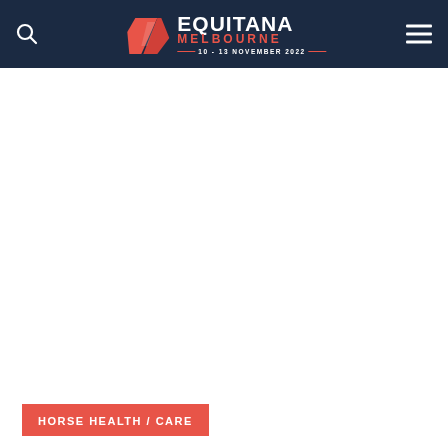EQUITANA MELBOURNE — 10 - 13 NOVEMBER 2022
[Figure (logo): Equitana Melbourne logo with stylized horse/wave graphic, text 'EQUITANA MELBOURNE 10 - 13 NOVEMBER 2022' on dark navy background]
HORSE HEALTH / CARE